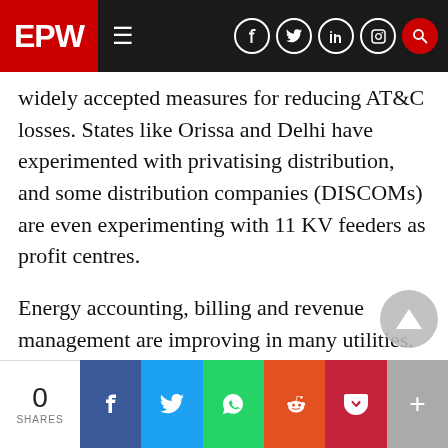EPW
widely accepted measures for reducing AT&C losses. States like Orissa and Delhi have experimented with privatising distribution, and some distribution companies (DISCOMs) are even experimenting with 11 KV feeders as profit centres.
Energy accounting, billing and revenue management are improving in many utilities. Approval of APDRP projects to be implemented on turnkey basis through pre-qualified contractors has improved the quality and speed of project implement ation. A strong emphasis on effective management information systems to improve operation and management of distribution